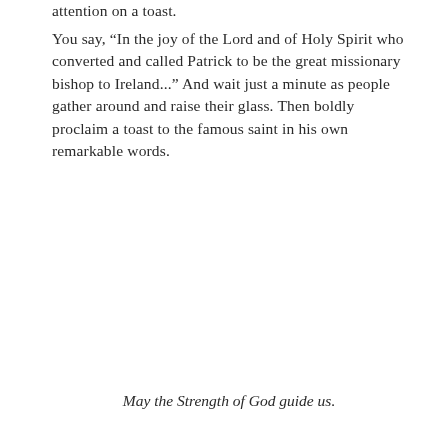attention on a toast.
You say, “In the joy of the Lord and of Holy Spirit who converted and called Patrick to be the great missionary bishop to Ireland...” And wait just a minute as people gather around and raise their glass. Then boldly proclaim a toast to the famous saint in his own remarkable words.
May the Strength of God guide us.